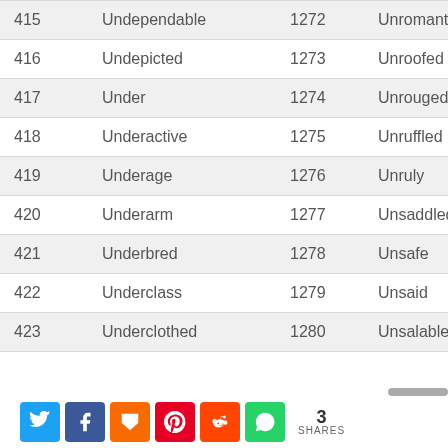| 415 | Undependable | 1272 | Unromantic |
| 416 | Undepicted | 1273 | Unroofed |
| 417 | Under | 1274 | Unrouged |
| 418 | Underactive | 1275 | Unruffled |
| 419 | Underage | 1276 | Unruly |
| 420 | Underarm | 1277 | Unsaddled |
| 421 | Underbred | 1278 | Unsafe |
| 422 | Underclass | 1279 | Unsaid |
| 423 | Underclothed | 1280 | Unsalable |